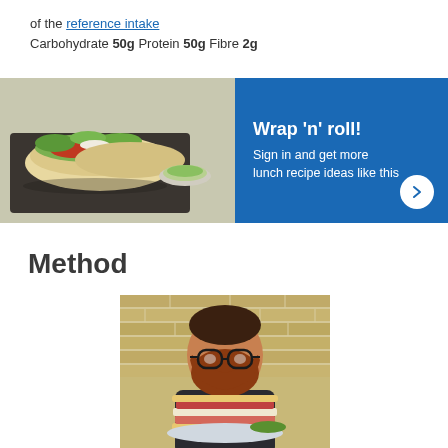of the reference intake
Carbohydrate 50g Protein 50g Fibre 2g
[Figure (photo): Food photo showing wraps/tacos with lettuce and condiments on a dark serving board, paired with a blue promotional banner saying 'Wrap n roll! Sign in and get more lunch recipe ideas like this']
Method
[Figure (photo): Photo of a bearded man wearing glasses holding a large stacked sandwich on a plate, standing in front of a brick wall]